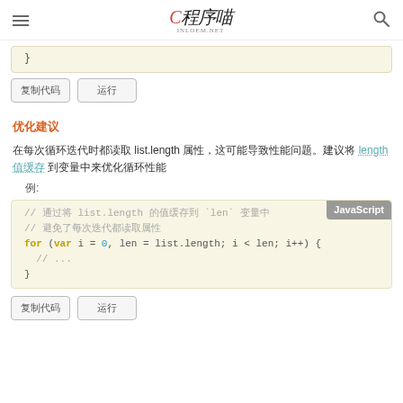程序喵 inloem.net
{ }
复制代码  运行
优化建议
在每次循环迭代时都读取 list.length 属性，这可能导致性能问题。建议将 length 值缓存到变量中 优化循环性能。
例:
// 通过将 list.length 的值缓存到 `len` 变量中
// 避免了每次迭代都读取属性
for (var i = 0, len = list.length; i < len; i++) {
  // ...
}
复制代码  运行